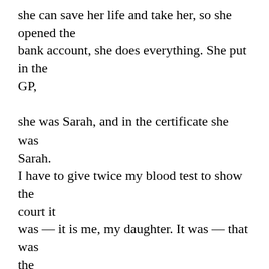she can save her life and take her, so she opened the bank account, she does everything. She put in the GP,

she was Sarah, and in the certificate she was Sarah.
I have to give twice my blood test to show the court it was — it is me, my daughter. It was — that was the most difficult one, because they didn't believe she was my daughter, because everything was not in my name,
because I was very afraid.
I have to be quite — go back to my normal life, so everything in this bank account was opened by